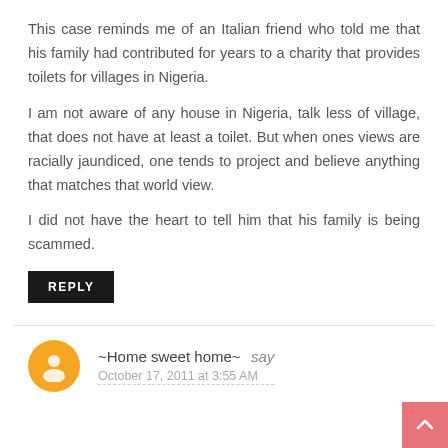This case reminds me of an Italian friend who told me that his family had contributed for years to a charity that provides toilets for villages in Nigeria.
I am not aware of any house in Nigeria, talk less of village, that does not have at least a toilet. But when ones views are racially jaundiced, one tends to project and believe anything that matches that world view.
I did not have the heart to tell him that his family is being scammed.
REPLY
~Home sweet home~ say
October 17, 2011 at 3:55 AM